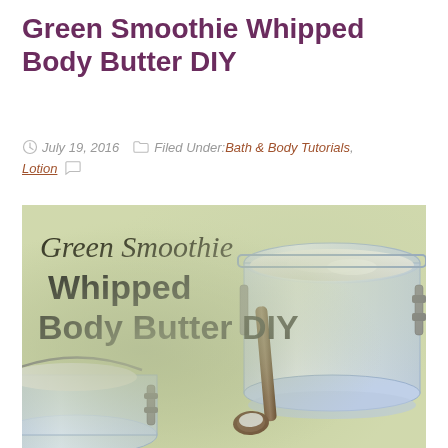Green Smoothie Whipped Body Butter DIY
July 19, 2016   Filed Under: Bath & Body Tutorials, Lotion
[Figure (photo): Photo of whipped body butter in glass mason jars with a wooden scoop, overlaid with text 'Green Smoothie Whipped Body Butter DIY' in script and bold fonts, on a green-beige background]